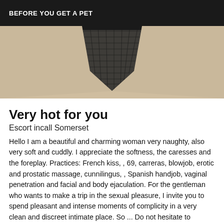BEFORE YOU GET A PET
[Figure (photo): Close-up photo of a person wearing dark fishnet/mesh underwear, cropped torso view against a light beige skin-toned background.]
Very hot for you
Escort incall Somerset
Hello I am a beautiful and charming woman very naughty, also very soft and cuddly. I appreciate the softness, the caresses and the foreplay. Practices: French kiss, , 69, carreras, blowjob, erotic and prostatic massage, cunnilingus, , Spanish handjob, vaginal penetration and facial and body ejaculation. For the gentleman who wants to make a trip in the sexual pleasure, I invite you to spend pleasant and intense moments of complicity in a very clean and discreet intimate place. So ... Do not hesitate to contact me for